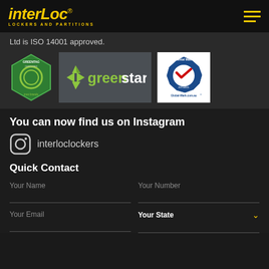[Figure (logo): Interloc Lockers and Partitions logo with yellow italic text on black background]
Ltd is ISO 14001 approved.
[Figure (logo): GreenTag Certified logo, GreenStar logo, and ISO 14001 Global-Mark.com.au certification badge]
You can now find us on Instagram
interloclockers
Quick Contact
Your Name
Your Number
Your Email
Your State